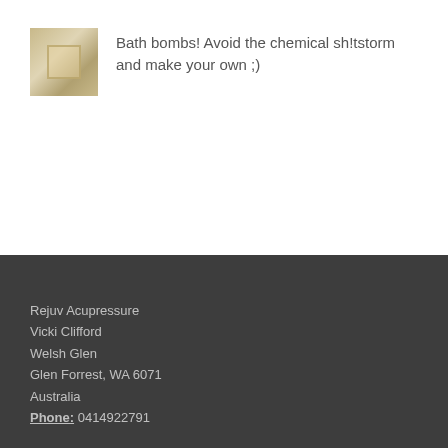[Figure (photo): Small thumbnail image of bath bombs or bath-related items arranged on a surface, in warm golden/cream tones]
Bath bombs! Avoid the chemical sh!tstorm and make your own ;)
Rejuv Acupressure
Vicki Clifford
Welsh Glen
Glen Forrest, WA 6071
Australia
Phone: 0414922791